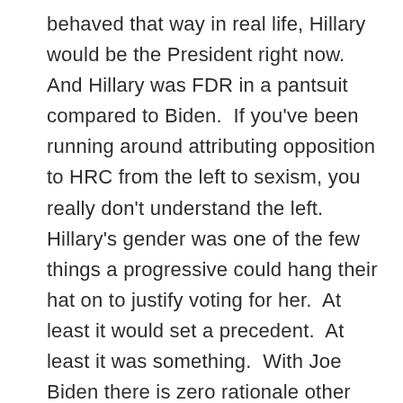behaved that way in real life, Hillary would be the President right now.  And Hillary was FDR in a pantsuit compared to Biden.  If you've been running around attributing opposition to HRC from the left to sexism, you really don't understand the left.  Hillary's gender was one of the few things a progressive could hang their hat on to justify voting for her.  At least it would set a precedent.  At least it was something.  With Joe Biden there is zero rationale other than “better than Trump.”  And that's just not the potent argument that a lot of VBNW types think it is.  Joe Biden is so bad, nominating him feels kind of like a double-dog-